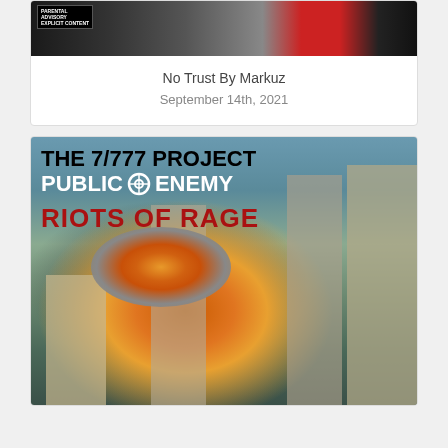[Figure (photo): Top card with album art showing explicit content badge on dark background with red accents]
No Trust By Markuz
September 14th, 2021
[Figure (photo): Album cover for 'The 7/777 Project' by Public Enemy titled 'Riots of Rage' showing imagery of burning buildings]